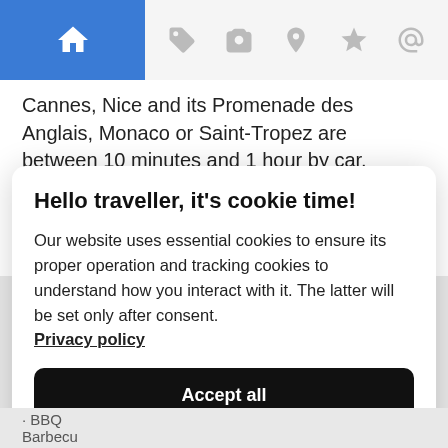[Figure (screenshot): Website navigation bar with home icon (blue background) and grey icons for tag, camera, location, star, and at-sign]
Cannes, Nice and its Promenade des Anglais, Monaco or Saint-Tropez are between 10 minutes and 1 hour by car.
The high country is rich in walks and picturesque villages. The villages of Mougins, Gourdon, Tourettes or Saint-Paul-de-Vence
Hello traveller, it's cookie time!
Our website uses essential cookies to ensure its proper operation and tracking cookies to understand how you interact with it. The latter will be set only after consent. Privacy policy
Accept all
Preferences
BBQ
Barbecu